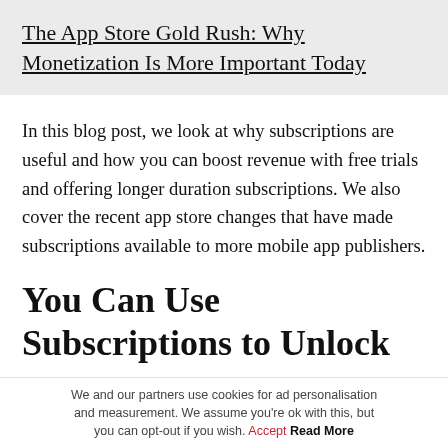The App Store Gold Rush: Why Monetization Is More Important Today
In this blog post, we look at why subscriptions are useful and how you can boost revenue with free trials and offering longer duration subscriptions. We also cover the recent app store changes that have made subscriptions available to more mobile app publishers.
You Can Use Subscriptions to Unlock
We and our partners use cookies for ad personalisation and measurement. We assume you're ok with this, but you can opt-out if you wish. Accept Read More